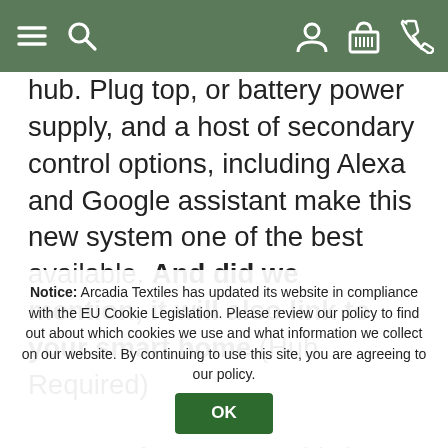[Navigation bar with menu, search, account, basket, and phone icons]
hub. Plug top, or battery power supply, and a host of secondary control options, including Alexa and Google assistant make this new system one of the best available. And did we mention, it will also link to your smart home.(Hub Required)

Decorquip System: This is a high quality battery operated system which offers control through a number of devices, it is easy to install and requires no hard wiring. The Lithium batteries will last upto 12 months between charges depending on the size of your blinds. Each system comes complete with a phone type battery charger which can be plugged into your blind in situ to re-charge. Installation is local, independent, and our in-house installation Co's are able to supply, fit and program your roller blinds and controller. Contact us today for a quote. 014...905 or contact us here
Notice: Arcadia Textiles has updated its website in compliance with the EU Cookie Legislation. Please review our policy to find out about which cookies we use and what information we collect on our website. By continuing to use this site, you are agreeing to our policy.